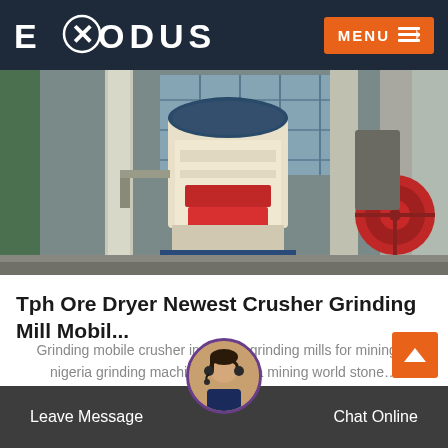EXODUS | MENU
[Figure (photo): Industrial grinding mill and crusher machinery in a factory setting. Large cream/beige colored vertical mill in the center, red machinery components on the right, structural columns and windows visible.]
Tph Ore Dryer Newest Crusher Grinding Mill Mobil...
Grinding mobile crusher in nigeria grinding mills for mining in nigeria grinding machine in nigeria mining world stone…
READ MORE
Leave Message   Chat Online